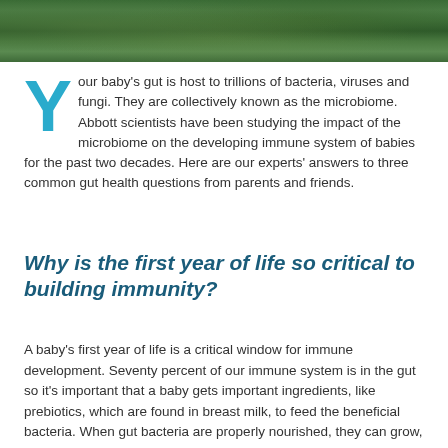[Figure (photo): Green leafy natural background photo at top of page]
Your baby's gut is host to trillions of bacteria, viruses and fungi. They are collectively known as the microbiome. Abbott scientists have been studying the impact of the microbiome on the developing immune system of babies for the past two decades. Here are our experts' answers to three common gut health questions from parents and friends.
Why is the first year of life so critical to building immunity?
A baby's first year of life is a critical window for immune development. Seventy percent of our immune system is in the gut so it's important that a baby gets important ingredients, like prebiotics, which are found in breast milk, to feed the beneficial bacteria. When gut bacteria are properly nourished, they can grow, diversify and multiply – all of which help to strengthen a baby's immune system.